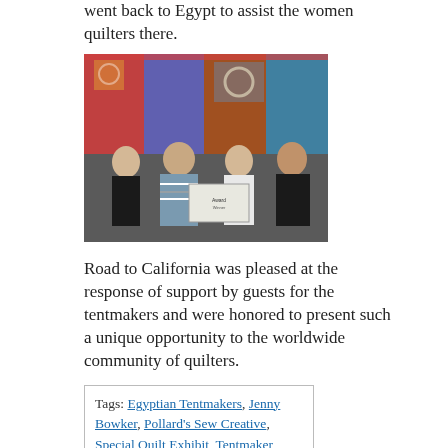went back to Egypt to assist the women quilters there.
[Figure (photo): Four people standing in front of colorful quilts on display, one person holding a sign/award]
Road to California was pleased at the response of support by guests for the tentmakers and were honored to present such a unique opportunity to the worldwide community of quilters.
Tags: Egyptian Tentmakers, Jenny Bowker, Pollard's Sew Creative, Special Quilt Exhibit, Tentmaker Applique Posted in behind the scenes, classes, Road to California | No Comments »